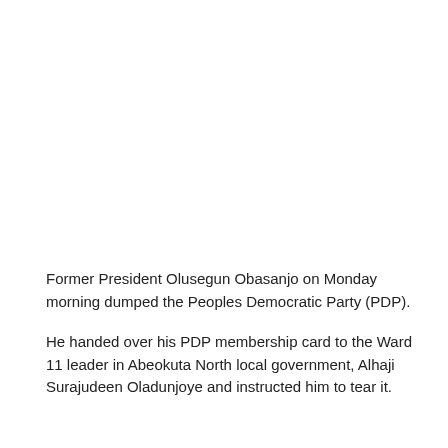Former President Olusegun Obasanjo on Monday morning dumped the Peoples Democratic Party (PDP).
He handed over his PDP membership card to the Ward 11 leader in Abeokuta North local government, Alhaji Surajudeen Oladunjoye and instructed him to tear it.